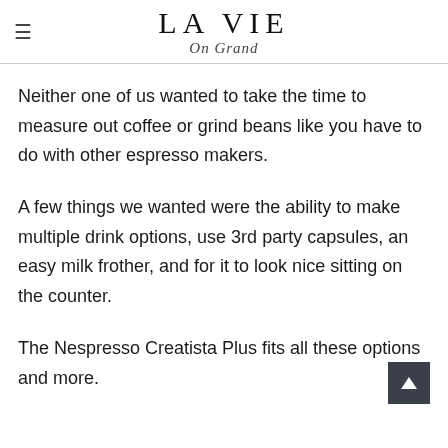LA VIE On Grand
Neither one of us wanted to take the time to measure out coffee or grind beans like you have to do with other espresso makers.
A few things we wanted were the ability to make multiple drink options, use 3rd party capsules, an easy milk frother, and for it to look nice sitting on the counter.
The Nespresso Creatista Plus fits all these options and more.